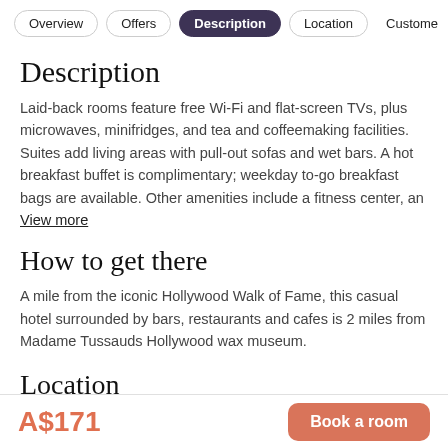Overview | Offers | Description | Location | Customer
Description
Laid-back rooms feature free Wi-Fi and flat-screen TVs, plus microwaves, minifridges, and tea and coffeemaking facilities. Suites add living areas with pull-out sofas and wet bars. A hot breakfast buffet is complimentary; weekday to-go breakfast bags are available. Other amenities include a fitness center, an
View more
How to get there
A mile from the iconic Hollywood Walk of Fame, this casual hotel surrounded by bars, restaurants and cafes is 2 miles from Madame Tussauds Hollywood wax museum.
Location
A$171
Book a room